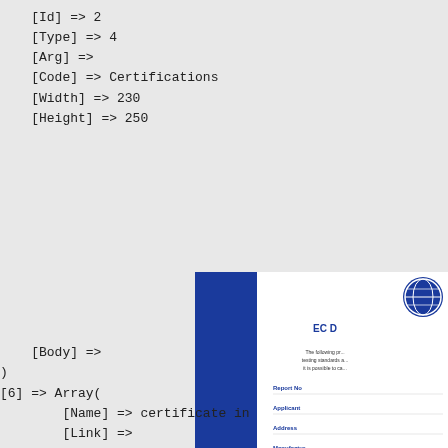[Id] => 2
    [Type] => 4
    [Arg] =>
    [Code] => Certifications
    [Width] => 230
    [Height] => 250


















    [Body] =>
)
[6] => Array(
        [Name] => certificate in
        [Link] =>
[Figure (illustration): A partial EC Declaration of Conformity certificate document with a blue vertical sidebar reading DECLARATION OF CONFORMITY, featuring a logo at top right and CE mark at bottom.]